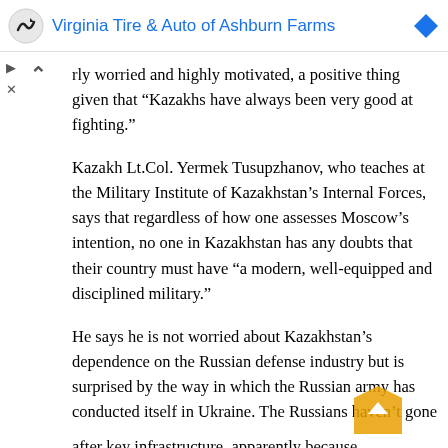Virginia Tire & Auto of Ashburn Farms
rly worried and highly motivated, a positive thing given that “Kazakhs have always been very good at fighting.”
Kazakh Lt.Col. Yermek Tusupzhanov, who teaches at the Military Institute of Kazakhstan’s Internal Forces, says that regardless of how one assesses Moscow’s intention, no one in Kazakhstan has any doubts that their country must have “a modern, well-equipped and disciplined military.”
He says he is not worried about Kazakhstan’s dependence on the Russian defense industry but is surprised by the way in which the Russian army has conducted itself in Ukraine. The Russians haven’t gone after key infrastructure, apparently because business interests are too powerful and don’t want